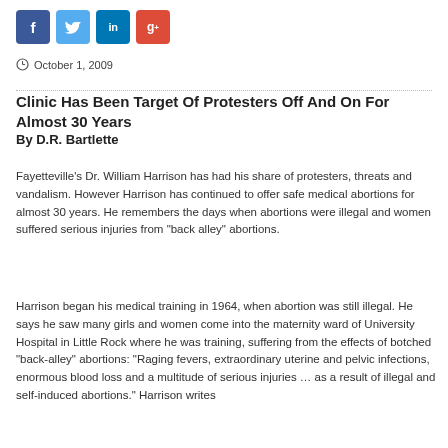[Figure (other): Social media share buttons: Facebook (blue), Twitter (light blue), LinkedIn (dark blue), Google+ (red)]
October 1, 2009
Clinic Has Been Target Of Protesters Off And On For Almost 30 Years
By D.R. Bartlette
Fayetteville's Dr. William Harrison has had his share of protesters, threats and vandalism. However Harrison has continued to offer safe medical abortions for almost 30 years. He remembers the days when abortions were illegal and women suffered serious injuries from “back alley” abortions.
Harrison began his medical training in 1964, when abortion was still illegal. He says he saw many girls and women come into the maternity ward of University Hospital in Little Rock where he was training, suffering from the effects of botched “back-alley” abortions: “Raging fevers, extraordinary uterine and pelvic infections, enormous blood loss and a multitude of serious injuries … as a result of illegal and self-induced abortions.” Harrison writes